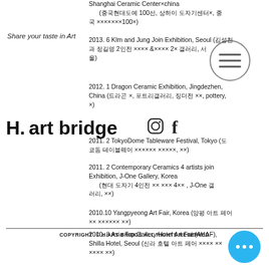Share your taste in Art
[Figure (logo): H.art bridge logo with Instagram and Facebook icons]
[Figure (other): Hamburger menu button inside circle]
Shanghai Ceramic Center×china (중국현대도예 100선, 상하이 도자기센터×, 중국 ×××××××100×)
2013. 6 KIm and Jung Join Exhibition, Seoul (김성천과 정길영 2인전 ×××× &×××× 2× 갤러리, 서울)
2012. 1 Dragon Ceramic Exhibition, Jingdezhen, China (드라곤 ×, 포트리갤러리, 징더전 ××, pottery, ×)
2011. 2 TokyoDome Tableware Festival, Tokyo (도쿄돔 테이블웨어 ×××××× ×××××, ××)
2011. 2 Contemporary Ceramics 4 artists join Exhibition, J-One Gallery, Korea (현대 도자기 4인전 ×× ××× 4×× , J-One 갤러리, ××)
2010.10 Yangpyeong Art Fair, Korea (양평 아트 페어 ×× ×××× ××)
2010. 8 Asia Top Gallery Hotel Art Fair(AHAF), Shilla Hotel, Seoul (신라 호텔 아트 페어 ×××× ×× ×××× ××)
COPYRIGHT © H.ART BRIDGE ALL RIGHTS RESERVED
[Figure (other): Blue circular chat/more button with three dots]